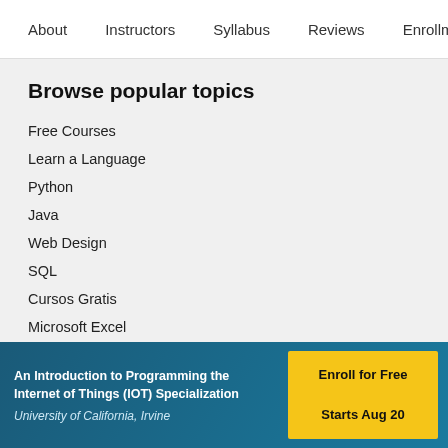About   Instructors   Syllabus   Reviews   Enrollment Opti
Browse popular topics
Free Courses
Learn a Language
Python
Java
Web Design
SQL
Cursos Gratis
Microsoft Excel
Project Management
An Introduction to Programming the Internet of Things (IOT) Specialization
University of California, Irvine
Enroll for Free
Starts Aug 20